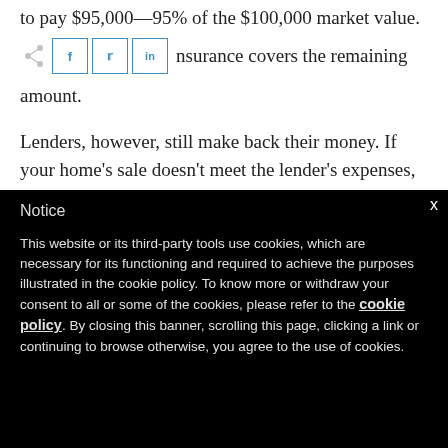to pay $95,000—95% of the $100,000 market value.
mortgage insurance covers the remaining amount.
Lenders, however, still make back their money. If your home's sale doesn't meet the lender's expenses,
Notice
This website or its third-party tools use cookies, which are necessary for its functioning and required to achieve the purposes illustrated in the cookie policy. To know more or withdraw your consent to all or some of the cookies, please refer to the cookie policy. By closing this banner, scrolling this page, clicking a link or continuing to browse otherwise, you agree to the use of cookies.